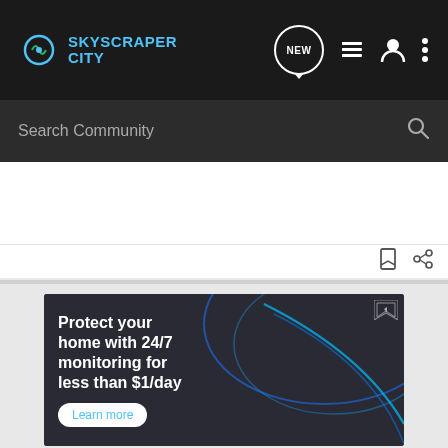[Figure (screenshot): SkyscraperCity website navigation bar with logo, NEW bubble icon, list icon, user icon, and more options icon]
[Figure (screenshot): Search Community input bar with magnifying glass icon]
[Figure (screenshot): Bookmark and share icons toolbar]
[Figure (screenshot): Advertisement banner: Protect your home with 24/7 monitoring for less than $1/day with Learn more button and image of smart home device remote]